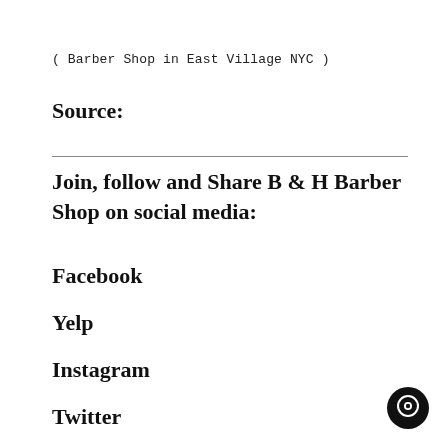( Barber Shop in East Village NYC )
Source:
Join, follow and Share B & H Barber Shop on social media:
Facebook
Yelp
Instagram
Twitter